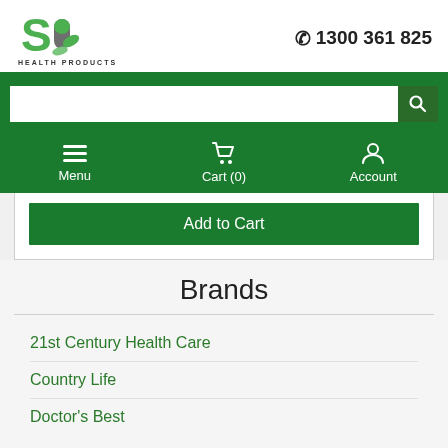SA Health Products logo | 1300 361 825
[Figure (logo): SA Health Products logo — stylized green S and capsule/leaf icon above text HEALTH PRODUCTS]
☎ 1300 361 825
[Figure (screenshot): Search bar with magnifying glass button on green background]
[Figure (screenshot): Navigation bar with Menu (hamburger), Cart (0) (cart icon), Account (person icon) on dark green background]
Add to Cart
Brands
21st Century Health Care
Country Life
Doctor's Best